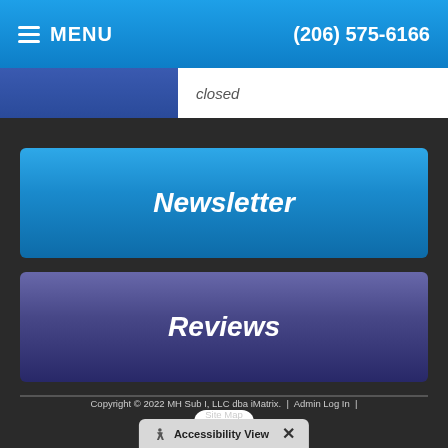MENU  (206) 575-6166
closed
Newsletter
Reviews
[Figure (logo): Facebook logo icon — white rounded square with lowercase f]
Copyright © 2022 MH Sub I, LLC dba iMatrix.  |  Admin Log In  |  Site Map
Accessibility View